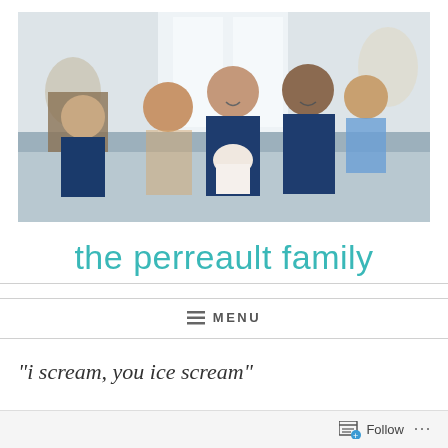[Figure (photo): Family photo showing two parents with three young children sitting together on a couch, smiling. Father is bald and holding a baby in white, mother has dark hair and is holding a toddler. Two older boys with red and dark hair are on the left.]
the perreault family
≡ MENU
“i scream, you ice scream”
Follow